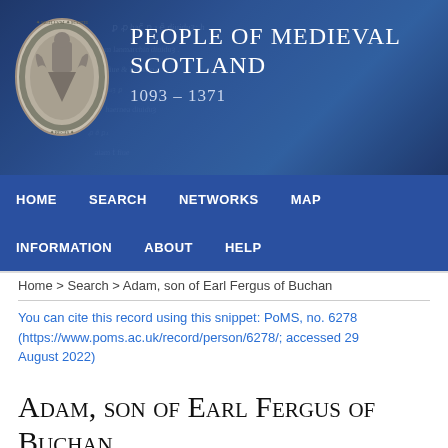[Figure (screenshot): People of Medieval Scotland website header banner with a medieval seal image on the left and the site title 'PEOPLE OF MEDIEVAL SCOTLAND 1093 - 1371' in white text on a dark blue background with manuscript texture overlay]
HOME   SEARCH   NETWORKS   MAP
INFORMATION   ABOUT   HELP
Home > Search > Adam, son of Earl Fergus of Buchan
You can cite this record using this snippet: PoMS, no. 6278 (https://www.poms.ac.uk/record/person/6278/; accessed 29 August 2022)
Adam, son of Earl Fergus of Buchan